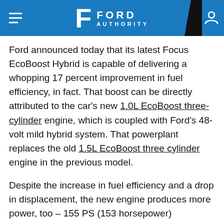FORD AUTHORITY
Ford announced today that its latest Focus EcoBoost Hybrid is capable of delivering a whopping 17 percent improvement in fuel efficiency, in fact. That boost can be directly attributed to the car's new 1.0L EcoBoost three-cylinder engine, which is coupled with Ford's 48-volt mild hybrid system. That powerplant replaces the old 1.5L EcoBoost three cylinder engine in the previous model.
Despite the increase in fuel efficiency and a drop in displacement, the new engine produces more power, too – 155 PS (153 horsepower) compared to 150 PS (149 horsepower). The new model is also available with 125 PS (123 horsepower). To demonstrate just how far we've come, just ten years ago the Ford Focus came